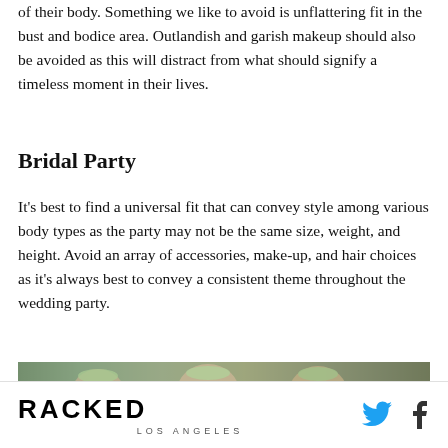of their body. Something we like to avoid is unflattering fit in the bust and bodice area. Outlandish and garish makeup should also be avoided as this will distract from what should signify a timeless moment in their lives.
Bridal Party
It's best to find a universal fit that can convey style among various body types as the party may not be the same size, weight, and height. Avoid an array of accessories, make-up, and hair choices as it's always best to convey a consistent theme throughout the wedding party.
[Figure (photo): Photo strip showing women in a bridal party wearing floral crowns outdoors]
RACKED LOS ANGELES